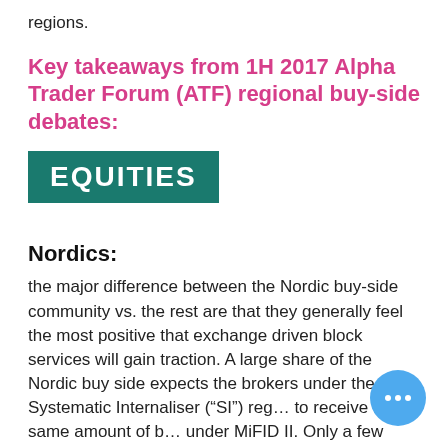regions.
Key takeaways from 1H 2017 Alpha Trader Forum (ATF) regional buy-side debates:
[Figure (other): Teal/green rectangular banner with white bold text reading EQUITIES]
Nordics:
the major difference between the Nordic buy-side community vs. the rest are that they generally feel the most positive that exchange driven block services will gain traction. A large share of the Nordic buy side expects the brokers under the Systematic Internaliser (“SI”) reg… to receive the same amount of b… under MiFID II. Only a few Nordic